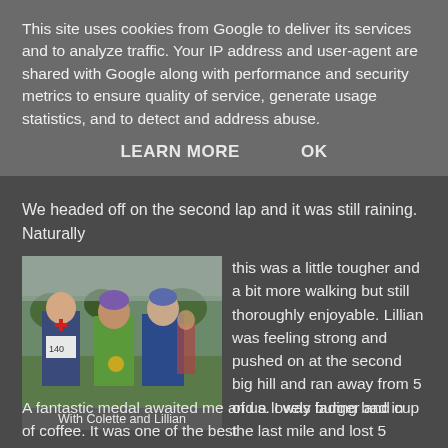This site uses cookies from Google to deliver its services and to analyze traffic. Your IP address and user-agent are shared with Google along with performance and security metrics to ensure quality of service, generate usage statistics, and to detect and address abuse.
LEARN MORE   OK
We headed off on the second lap and it was still raining. Naturally
[Figure (photo): Three people posing together outdoors at a running event. One person is wearing a bib with number 140 and a red cross on their top. Trees and parked cars visible in background.]
With Colette and Lillian
this was a little tougher and a bit more walking but still thoroughly enjoyable. Lillian was feeling strong and pushed on at the second big hill and ran away from 5 of us.  I was fading bad in the last mile and lost 5 places and was delighted to come in still running at 4:48:01.
A fantastic medal awaited me and a lovely burger and cup of coffee. It was one of the best